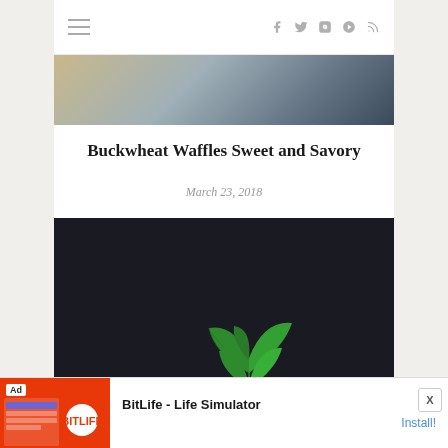≡   f  𝕏  ◻  🅟  ⊓
[Figure (photo): Cropped top portion of a food photo]
Buckwheat Waffles Sweet and Savory
March 23, 2018
[Figure (photo): Dark styled food photo with dragon fruit, lime slice, and mint leaves on a dark background]
[Figure (other): Advertisement banner: BitLife - Life Simulator app ad with Install button]